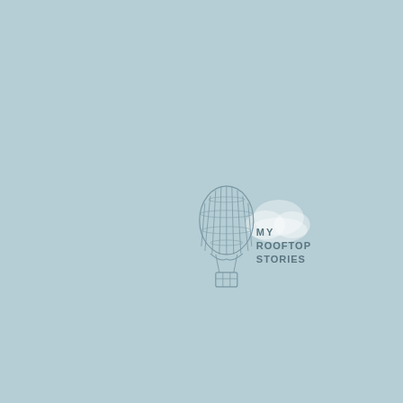[Figure (logo): My Rooftop Stories logo: a line-art hot air balloon with vertical stripes and a small basket on the left, a soft cloud shape behind it on the right, and the text 'MY ROOFTOP STORIES' in dark grey sans-serif capitals to the right of the balloon.]